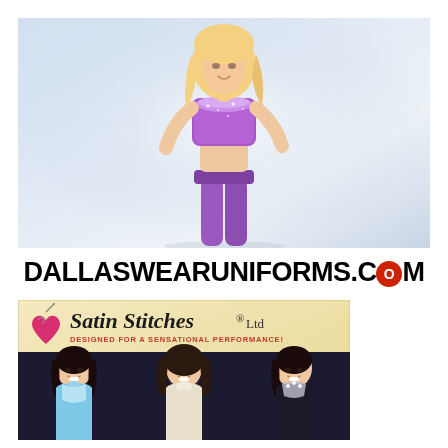[Figure (photo): A young blonde woman wearing a purple sequined halter crop top and purple bottom, posed against a light blue-grey gradient background]
DALLASWEARUNIFORMS.COM
[Figure (photo): Satin Stitches Ltd advertisement with logo (heart with needle), brand name in italic script, tagline 'DESIGNED FOR A SENSATIONAL PERFORMANCE!', and three women wearing dance/performance uniforms (light blue, white, and black outfits)]